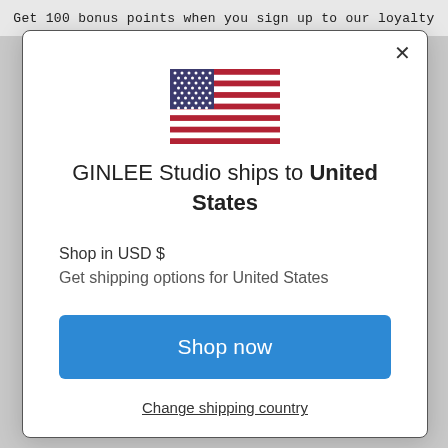Get 100 bonus points when you sign up to our loyalty
[Figure (illustration): United States flag icon]
GINLEE Studio ships to United States
Shop in USD $
Get shipping options for United States
Shop now
Change shipping country